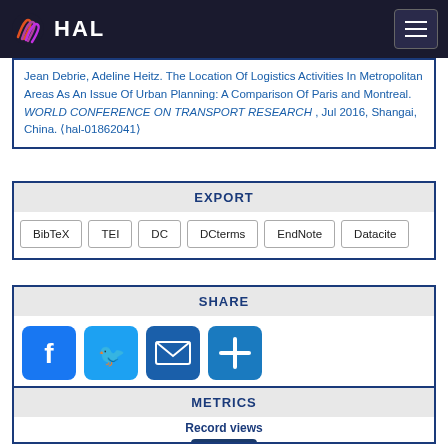HAL
Jean Debrie, Adeline Heitz. The Location Of Logistics Activities In Metropolitan Areas As An Issue Of Urban Planning: A Comparison Of Paris and Montreal. WORLD CONFERENCE ON TRANSPORT RESEARCH , Jul 2016, Shangai, China. ⟨hal-01862041⟩
EXPORT
BibTeX
TEI
DC
DCterms
EndNote
Datacite
SHARE
[Figure (infographic): Social share buttons: Facebook, Twitter, Email, and Plus/More]
METRICS
Record views
205
Files downloads